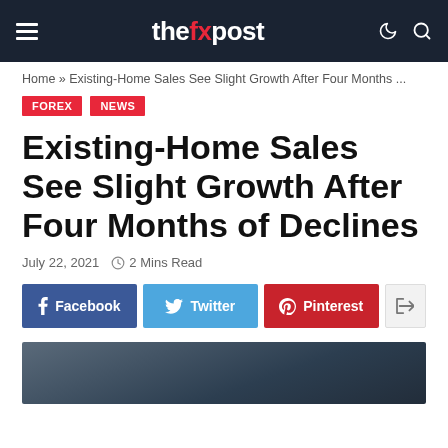thefxpost
Home » Existing-Home Sales See Slight Growth After Four Months ...
FOREX
NEWS
Existing-Home Sales See Slight Growth After Four Months of Declines
July 22, 2021   2 Mins Read
[Figure (other): Social share buttons: Facebook, Twitter, Pinterest, share icon]
[Figure (photo): Dark blue-grey gradient image at the bottom of the article header]